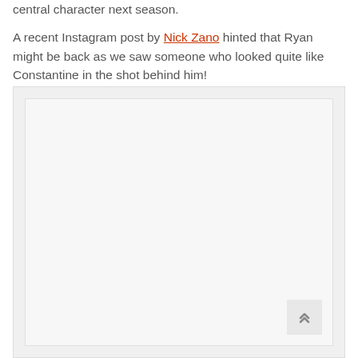central character next season. A recent Instagram post by Nick Zano hinted that Ryan might be back as we saw someone who looked quite like Constantine in the shot behind him!
[Figure (photo): A large image placeholder area with light gray background, representing an embedded image related to the article content.]